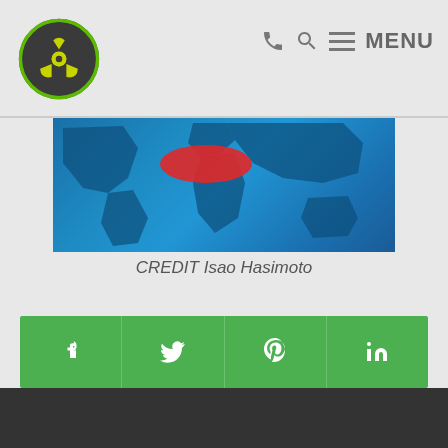MENU (navigation header with radioactive logo icon and phone, search, menu icons)
[Figure (photo): World map with blue background and red highlighted region, partially cropped at top]
CREDIT Isao Hasimoto
[Figure (infographic): Green social sharing bar with Facebook, Twitter, Pinterest, and LinkedIn icons]
[Figure (screenshot): White search input bar at bottom of content area]
Dark footer bar